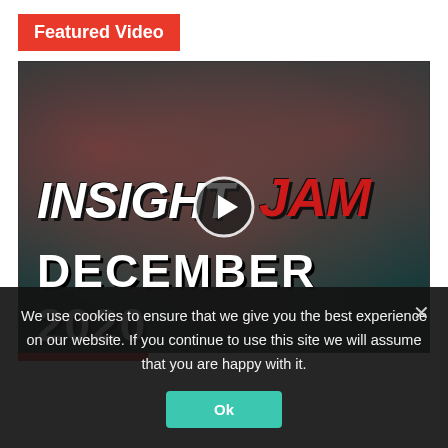Featured Video
[Figure (screenshot): Video thumbnail for Insight Jam December 2020 with a play button overlay. Background shows a dark teal/red abstract pattern. Text reads INSIGHT JAM DECEMBER 2020.]
We use cookies to ensure that we give you the best experience on our website. If you continue to use this site we will assume that you are happy with it.